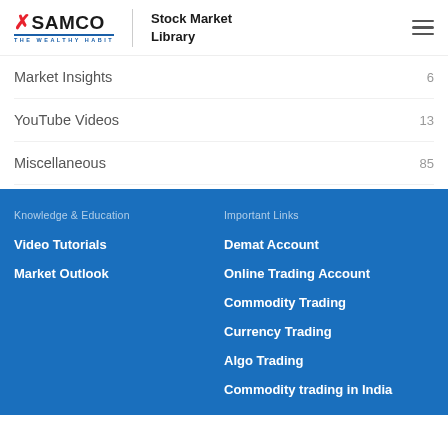SAMCO THE WEALTHY HABIT | Stock Market Library
Market Insights  6
YouTube Videos  13
Miscellaneous  85
Knowledge & Education
Important Links
Video Tutorials
Market Outlook
Demat Account
Online Trading Account
Commodity Trading
Currency Trading
Algo Trading
Commodity trading in India